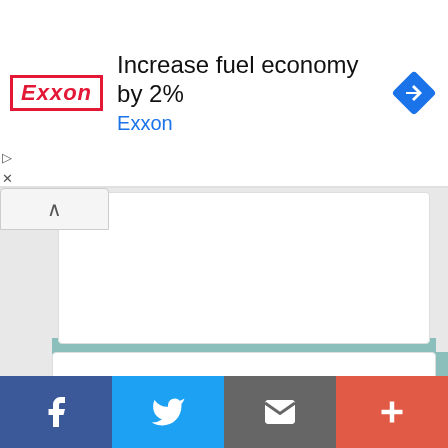[Figure (screenshot): Exxon advertisement banner: logo on left, headline 'Increase fuel economy by 2%', subtext 'Exxon' in blue, blue navigation diamond icon on right]
Hinduism and Buddhism Main Differences
This website uses cookies to ensure you get the best experience on our website.
Got it!